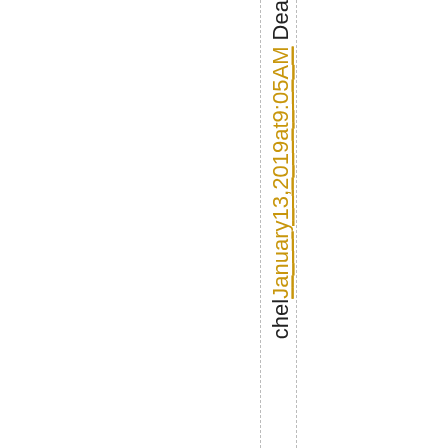che l January 13, 2019 at 9:05AM Dea